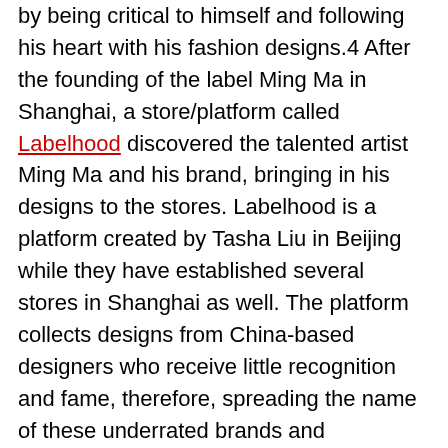by being critical to himself and following his heart with his fashion designs.4 After the founding of the label Ming Ma in Shanghai, a store/platform called Labelhood discovered the talented artist Ming Ma and his brand, bringing in his designs to the stores. Labelhood is a platform created by Tasha Liu in Beijing while they have established several stores in Shanghai as well. The platform collects designs from China-based designers who receive little recognition and fame, therefore, spreading the name of these underrated brands and influencing the China fashion market This discovery led to a blooming fame for Ming Ma and the label soon became well known throughout China and later across the globe. Now, Ming Ma designs are usually found on various online shopping platforms worldwide while they can also be purchased in Labelhood stores in Shanghai. Social media also pushed the